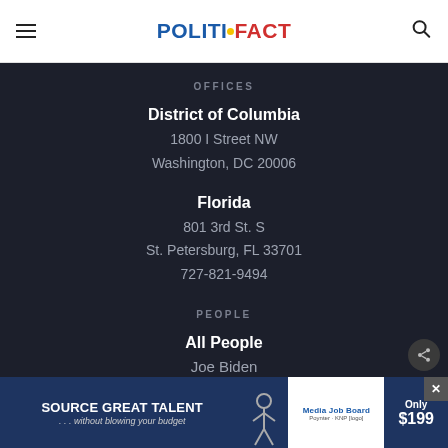POLITIFACT
OFFICES
District of Columbia
1800 I Street NW
Washington, DC 20006
Florida
801 3rd St. S
St. Petersburg, FL 33701
727-821-9494
PEOPLE
All People
Joe Biden
[Figure (other): Advertisement banner: SOURCE GREAT TALENT ...without blowing your budget. Media Job Board. Only $199.]